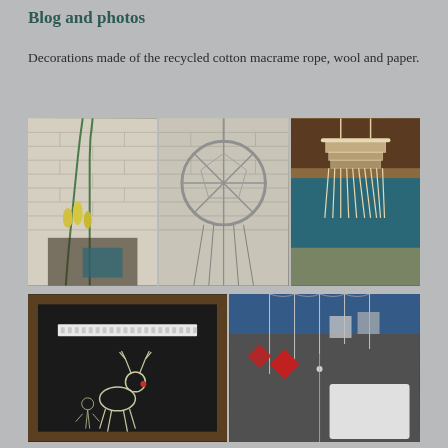Blog and photos
Decorations made of the recycled cotton macrame rope, wool and paper.
[Figure (photo): Three photos in a row showing macrame and craft decorations: left photo shows green macrame plant hanger against white brick wall with yellow tulips; center photo shows a circular dream catcher/macrame on white brick wall; right photo shows cream/white macrame wall hanging with fringe against teal wall and wooden furniture]
[Figure (photo): Two photos side by side: left photo shows a dark chalkboard display with decorative items including a white lace piece and a wire reindeer figure; right photo shows hanging geometric paper/wire decorations including red diamond shapes and grey squares against a blurred background]